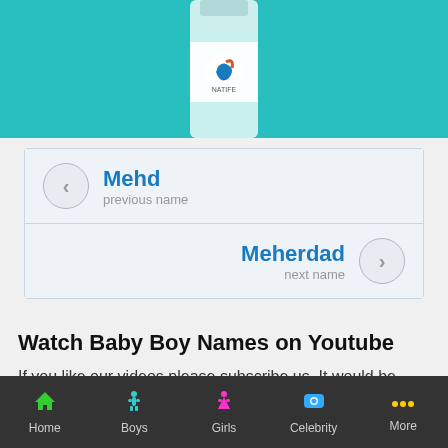[Figure (photo): Top portion of a water bottle (NATIE brand) against a teal/turquoise background]
Mehd
previous name
Meherdad
next name
Watch Baby Boy Names on Youtube
If you like our videos please subscribe us. It would be great help to buy me a cup of cofee. ☺
Home | Boys | Girls | Celebrity | More